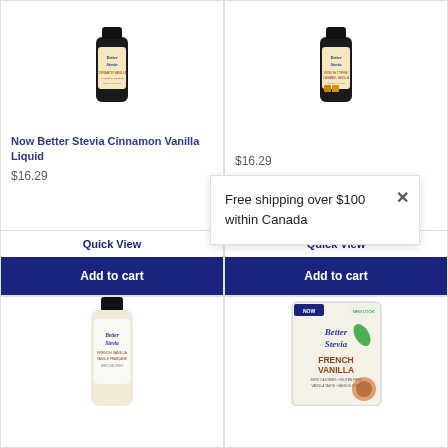[Figure (photo): Now Better Stevia Cinnamon Vanilla Liquid product bottle (dark glass bottle)]
Now Better Stevia Cinnamon Vanilla Liquid
$16.29
Quick View
Add to cart
[Figure (photo): Now Better Stevia English Toffee Caramel Vanilla product bottle (dark glass bottle)]
$16.29
Quick View
Add to cart
Free shipping over $100 within Canada
[Figure (photo): Now Better Stevia French Vanilla liquid bottle (light/cream colored bottle, partial view at bottom)]
[Figure (photo): Now Better Stevia French Vanilla box product (partial view at bottom)]